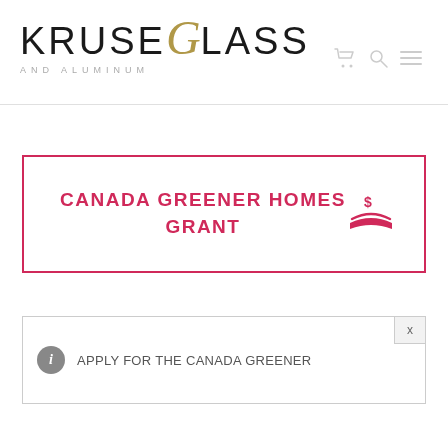[Figure (logo): Kruse Glass and Aluminum logo with stylized italic gold G]
[Figure (infographic): Canada Greener Homes Grant button with pink border, bold pink uppercase text and dollar/hand icon]
[Figure (infographic): Notification box with info icon and text: APPLY FOR THE CANADA GREENER, with close X button]